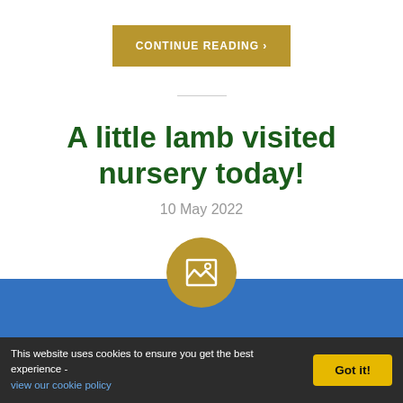CONTINUE READING >
A little lamb visited nursery today!
10 May 2022
[Figure (illustration): Gold circular icon with image/landscape placeholder symbol over a blue banner background]
This website uses cookies to ensure you get the best experience - view our cookie policy  Got it!